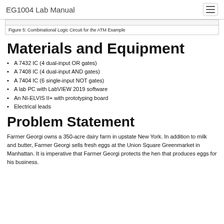EG1004 Lab Manual
Figure 5: Combinational Logic Circuit for the ATM Example
Materials and Equipment
A 7432 IC (4 dual-input OR gates)
A 7408 IC (4 dual-input AND gates)
A 7404 IC (6 single-input NOT gates)
A lab PC with LabVIEW 2019 software
An NI-ELVIS II+ with prototyping board
Electrical leads
Problem Statement
Farmer Georgi owns a 350-acre dairy farm in upstate New York. In addition to milk and butter, Farmer Georgi sells fresh eggs at the Union Square Greenmarket in Manhattan. It is imperative that Farmer Georgi protects the hen that produces eggs for his business.